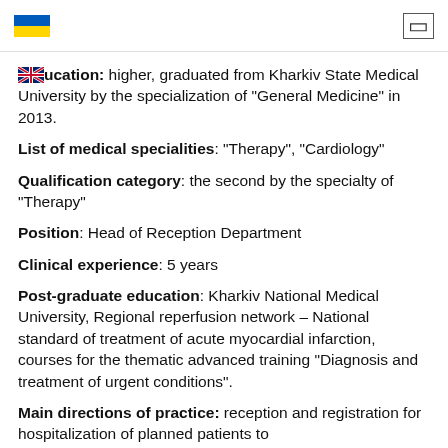[Ukrainian flag] [menu icon]
Education: higher, graduated from Kharkiv State Medical University by the specialization of "General Medicine" in 2013.
List of medical specialities: "Therapy", "Cardiology"
Qualification category: the second by the specialty of "Therapy"
Position: Head of Reception Department
Clinical experience: 5 years
Post-graduate education: Kharkiv National Medical University, Regional reperfusion network – National standard of treatment of acute myocardial infarction, courses for the thematic advanced training "Diagnosis and treatment of urgent conditions".
Main directions of practice: reception and registration for hospitalization of planned patients to